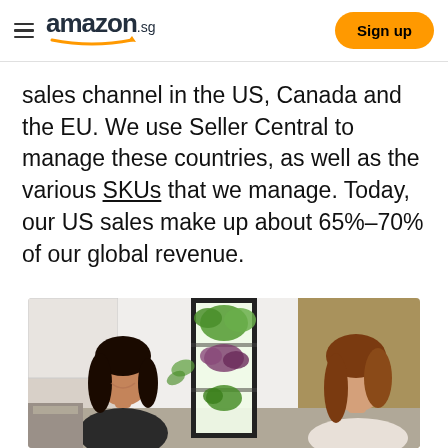amazon.sg  Sign up
sales channel in the US, Canada and the EU. We use Seller Central to manage these countries, as well as the various SKUs that we manage. Today, our US sales make up about 65%–70% of our global revenue.
[Figure (photo): Two women standing near a tall indoor vertical hydroponic garden tower with green leafy plants growing inside a glass and metal frame enclosure, in a kitchen setting.]